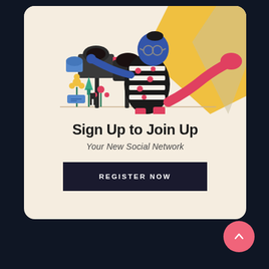[Figure (illustration): Flat illustration of a person in a polka-dot outfit reaching into a mailbox, with flowers and a large yellow diagonal shape in the background, on a cream/beige background.]
Sign Up to Join Up
Your New Social Network
REGISTER NOW